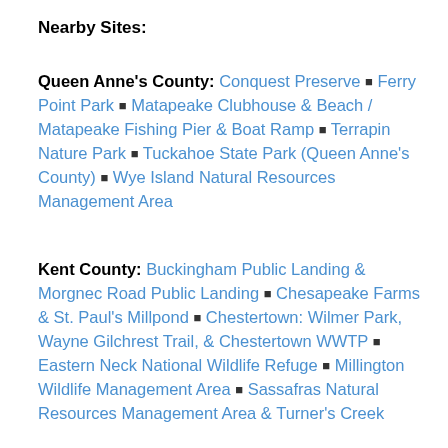Nearby Sites:
Queen Anne's County: Conquest Preserve ■ Ferry Point Park ■ Matapeake Clubhouse & Beach / Matapeake Fishing Pier & Boat Ramp ■ Terrapin Nature Park ■ Tuckahoe State Park (Queen Anne's County) ■ Wye Island Natural Resources Management Area
Kent County: Buckingham Public Landing & Morgnec Road Public Landing ■ Chesapeake Farms & St. Paul's Millpond ■ Chestertown: Wilmer Park, Wayne Gilchrest Trail, & Chestertown WWTP ■ Eastern Neck National Wildlife Refuge ■ Millington Wildlife Management Area ■ Sassafras Natural Resources Management Area & Turner's Creek